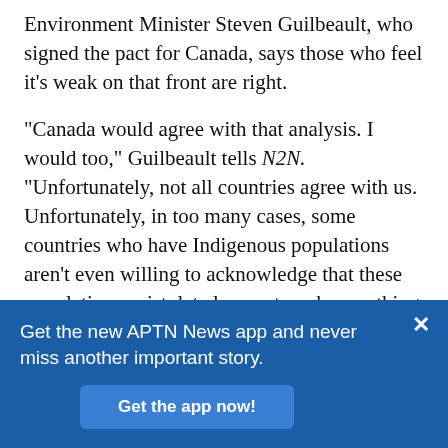Environment Minister Steven Guilbeault, who signed the pact for Canada, says those who feel it's weak on that front are right.
“Canada would agree with that analysis. I would too,” Guilbeault tells N2N. “Unfortunately, not all countries agree with us. Unfortunately, in too many cases, some countries who have Indigenous populations aren’t even willing to acknowledge that these populations exist, let alone entrench something that’s legally binding in an international treaty.”
Guilbeault is former activist who once scaled the CN Tower and unfurled a Greenpeace banner in a risky
Get the new APTN News app and never miss another important story.
Get the app now!